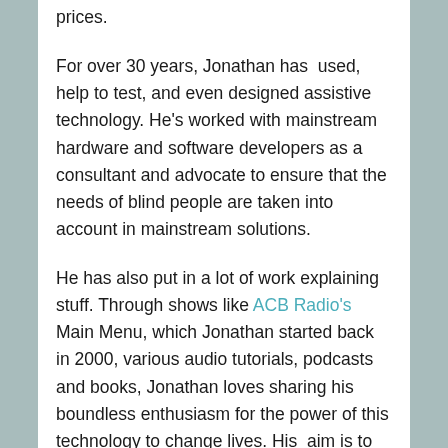prices.
For over 30 years, Jonathan has  used, help to test, and even designed assistive technology. He's worked with mainstream hardware and software developers as a consultant and advocate to ensure that the needs of blind people are taken into account in mainstream solutions.
He has also put in a lot of work explaining stuff. Through shows like ACB Radio's Main Menu, which Jonathan started back in 2000, various audio tutorials, podcasts and books, Jonathan loves sharing his boundless enthusiasm for the power of this technology to change lives. His  aim is to communicate even complex technological